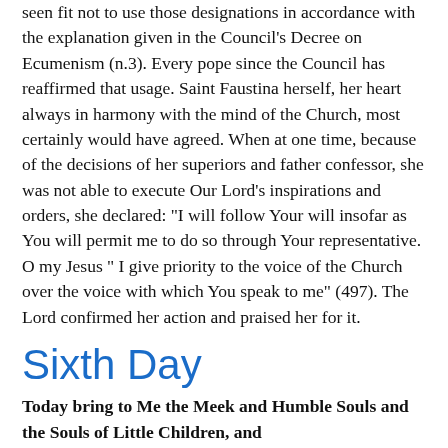seen fit not to use those designations in accordance with the explanation given in the Council's Decree on Ecumenism (n.3). Every pope since the Council has reaffirmed that usage. Saint Faustina herself, her heart always in harmony with the mind of the Church, most certainly would have agreed. When at one time, because of the decisions of her superiors and father confessor, she was not able to execute Our Lord's inspirations and orders, she declared: "I will follow Your will insofar as You will permit me to do so through Your representative. O my Jesus " I give priority to the voice of the Church over the voice with which You speak to me" (497). The Lord confirmed her action and praised her for it.
Sixth Day
Today bring to Me the Meek and Humble Souls and the Souls of Little Children, and